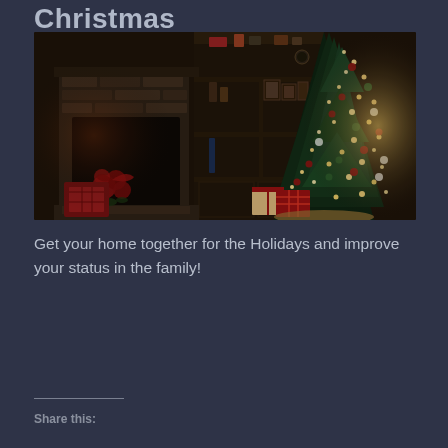Christmas
[Figure (photo): A cozy living room scene with a lit Christmas tree decorated with ornaments and lights on the right, a stone fireplace on the left with red poinsettias and holiday pillows, dark wooden shelving with decorative items, and wrapped presents beneath the tree.]
Get your home together for the Holidays and improve your status in the family!
Share this: